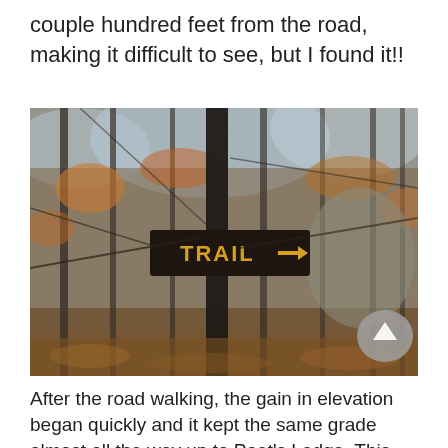couple hundred feet from the road, making it difficult to see, but I found it!!
[Figure (photo): A forest scene in autumn/late fall with bare trees and fallen leaves. A dark brown rectangular trail sign with yellow text reading 'TRAIL →' is nailed to a tree trunk in the center of the image.]
After the road walking, the gain in elevation began quickly and it kept the same grade almost all the way up to Poet's Ledge. This was basically 2 miles